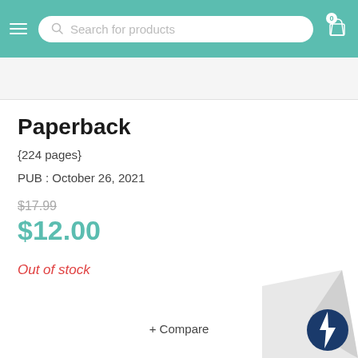Search for products
Paperback
{224 pages}
PUB : October 26, 2021
$17.99
$12.00
Out of stock
+ Compare